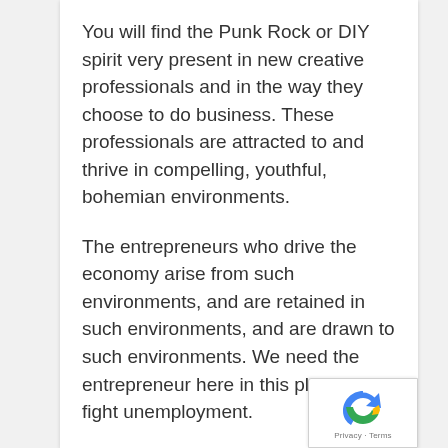You will find the Punk Rock or DIY spirit very present in new creative professionals and in the way they choose to do business. These professionals are attracted to and thrive in compelling, youthful, bohemian environments.
The entrepreneurs who drive the economy arise from such environments, and are retained in such environments, and are drawn to such environments. We need the entrepreneur here in this place to fight unemployment.
[Figure (logo): reCAPTCHA logo with Privacy and Terms text]